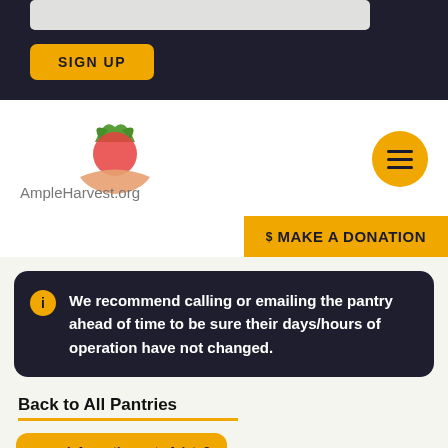[Figure (screenshot): Top dark section with input box and SIGN UP button]
[Figure (logo): AmpleHarvest.org logo with tomato and hand icon]
[Figure (screenshot): Gold hamburger menu circle button]
$ MAKE A DONATION
We recommend calling or emailing the pantry ahead of time to be sure their days/hours of operation have not changed.
Back to All Pantries
Information out of date? Let us know!
fountain of life